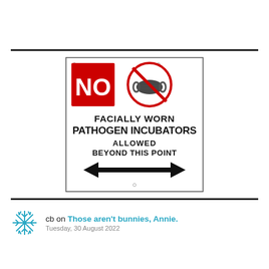[Figure (illustration): A sign reading NO FACIALLY WORN PATHOGEN INCUBATORS ALLOWED BEYOND THIS POINT, with a red NO box, a crossed-out face mask circle symbol, and a double-headed arrow at the bottom.]
cb on Those aren't bunnies, Annie.
Tuesday, 30 August 2022